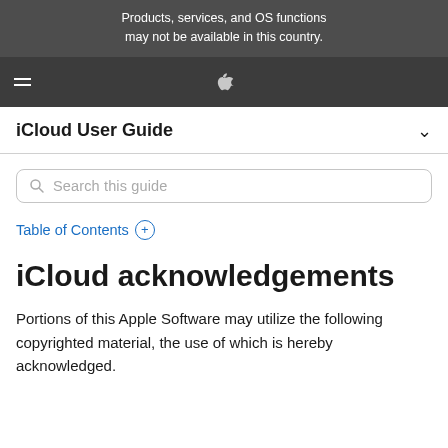Products, services, and OS functions may not be available in this country.
[Figure (logo): Apple navigation bar with hamburger menu icon and Apple logo]
iCloud User Guide
Search this guide
Table of Contents +
iCloud acknowledgements
Portions of this Apple Software may utilize the following copyrighted material, the use of which is hereby acknowledged.